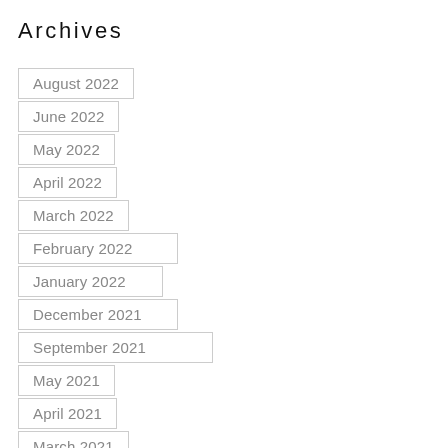Archives
August 2022
June 2022
May 2022
April 2022
March 2022
February 2022
January 2022
December 2021
September 2021
May 2021
April 2021
March 2021
February 2021